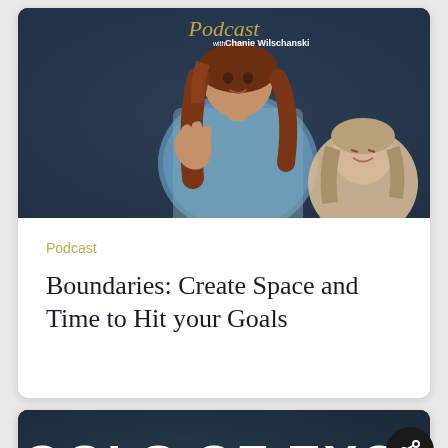[Figure (photo): Podcast card with photo of a woman with red/auburn hair in a blue patterned top gesturing with her hand, another woman partially visible behind her, with 'Podcast with Chanie Wilschanski' logo text overlay on a dark background]
Podcast
Boundaries: Create Space and Time to Hit your Goals
[Figure (photo): Second podcast card showing 'TOOLS OF EXCELLE...' text in large white bold letters with 'Podcast with Chanie Wilschanski' script logo on a dark background, partially cropped at bottom of page]